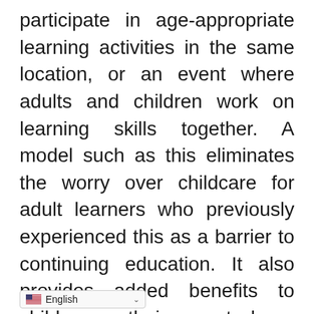participate in age-appropriate learning activities in the same location, or an event where adults and children work on learning skills together. A model such as this eliminates the worry over childcare for adult learners who previously experienced this as a barrier to continuing education. It also provides added benefits to children as their parents learn skills to improve the economic well-being of the family. According to the National Center for Families Learning, there are a few key components to a 2Gen family literacy